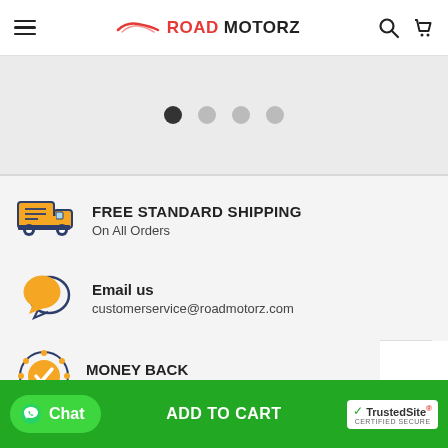ROAD MOTORZ
[Figure (screenshot): Carousel pagination dots: one dark (active) and three light grey dots]
[Figure (illustration): Orange delivery truck icon]
FREE STANDARD SHIPPING
On All Orders
[Figure (illustration): Orange and dark blue chat/speech bubble icon]
Email us
customerservice@roadmotorz.com
[Figure (illustration): Gold star/check badge icon with blue border stars]
MONEY BACK
Worry Free Online Shopping
[Figure (illustration): WhatsApp Chat button and ADD TO CART green bar with TrustedSite certified secure badge]